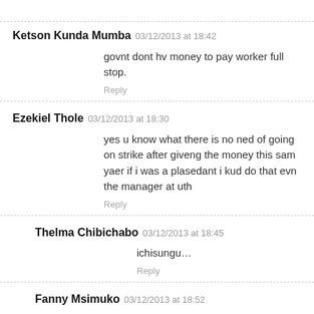Ketson Kunda Mumba 03/12/2013 at 18:42
govnt dont hv money to pay worker full stop.
Reply
Ezekiel Thole 03/12/2013 at 18:30
yes u know what there is no ned of going on strike after giveng the money this sam yaer if i was a plasedant i kud do that evn the manager at uth
Reply
Thelma Chibichabo 03/12/2013 at 18:45
ichisungu…
Reply
Fanny Msimuko 03/12/2013 at 18:52